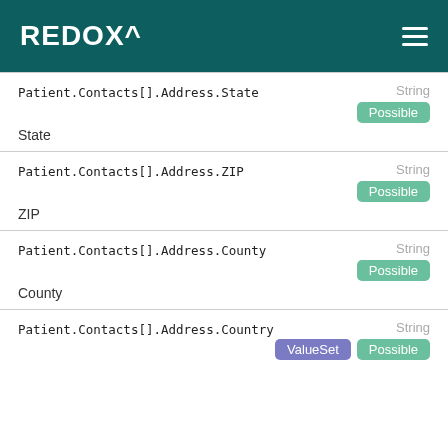REDOX^
Patient.Contacts[].Address.State
String
Possible
State
Patient.Contacts[].Address.ZIP
String
Possible
ZIP
Patient.Contacts[].Address.County
String
Possible
County
Patient.Contacts[].Address.Country
String
ValueSet Possible